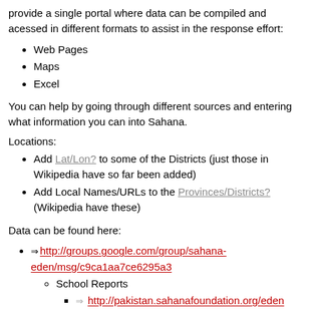provide a single portal where data can be compiled and acessed in different formats to assist in the response effort:
Web Pages
Maps
Excel
You can help by going through different sources and entering what information you can into Sahana.
Locations:
Add Lat/Lon? to some of the Districts (just those in Wikipedia have so far been added)
Add Local Names/URLs to the Provinces/Districts? (Wikipedia have these)
Data can be found here:
http://groups.google.com/group/sahana-eden/msg/c9ca1aa7ce6295a3
School Reports
http://pakistan.sahanafoundation.org/eden
School Reports within each District